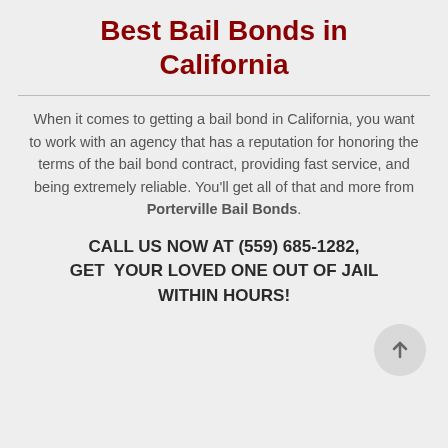Best Bail Bonds in California
When it comes to getting a bail bond in California, you want to work with an agency that has a reputation for honoring the terms of the bail bond contract, providing fast service, and being extremely reliable. You’ll get all of that and more from Porterville Bail Bonds.
CALL US NOW AT (559) 685-1282, GET YOUR LOVED ONE OUT OF JAIL WITHIN HOURS!